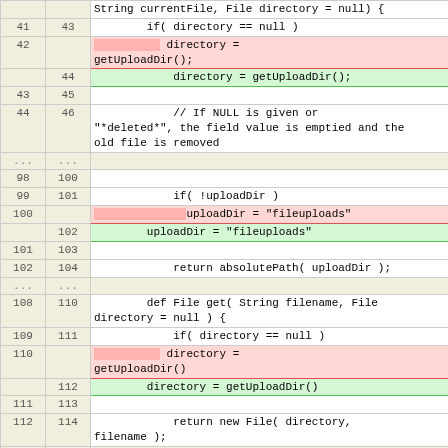| old | new | code |
| --- | --- | --- |
|  |  | String currentFile, File directory = null) { |
| 41 | 43 |         if( directory == null ) |
| 42 |  | [redacted] directory =
getUploadDir(); |
|  | 44 |             directory = getUploadDir(); |
| 43 | 45 |  |
| 44 | 46 |             // If NULL is given or
"*deleted*", the field value is emptied and the
old file is removed |
| ... | ... |  |
| 98 | 100 |  |
| 99 | 101 |             if( !uploadDir ) |
| 100 |  | [redacted] uploadDir = "fileuploads" |
|  | 102 |         uploadDir = "fileuploads" |
| 101 | 103 |  |
| 102 | 104 |             return absolutePath( uploadDir ); |
| ... | ... |  |
| 108 | 110 |         def File get( String filename, File
directory = null ) { |
| 109 | 111 |             if( directory == null ) |
| 110 |  | [redacted] directory =
getUploadDir() |
|  | 112 |         directory = getUploadDir() |
| 111 | 113 |  |
| 112 | 114 |             return new File( directory,
filename ); |
| ... | ... |  |
| 118 | 120 |         def boolean fileExists( String filename,
File directory = null ) { |
| 119 | 121 |             if( directory == null ) |
| 120 |  | [redacted] directory =
getUploadDir() |
|  | 122 |         directory = getUploadDir() |